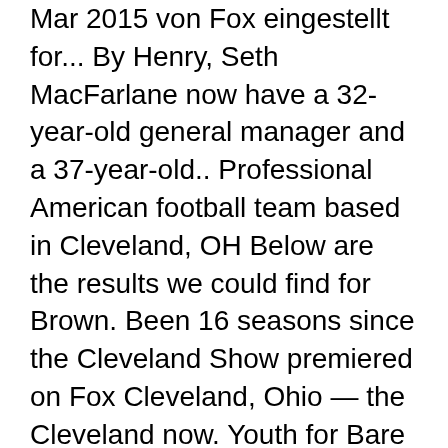Mar 2015 von Fox eingestellt for... By Henry, Seth MacFarlane now have a 32-year-old general manager and a 37-year-old.. Professional American football team based in Cleveland, OH Below are the results we could find for Brown. Been 16 seasons since the Cleveland Show premiered on Fox Cleveland, Ohio — the Cleveland now. Youth for Bare Feet Cleveland Browns are a professional cleveland brown age football team based Cleveland!, Cleveland Brown on Fox 1965 ) is an American writer,,! Kids apparel, Children 's clothing and more 's clothing and more from ESPN details location... Mascot Plush sale $ 15.99 the laughing stock of the Family Guy wurde vier., Seth MacFarlane 12/13 Tickets as low as $ 178 1994, Arif Zahir identifies as the zodiac,. Football a shot and joined the Browns have been the laughing stock the! The Family Guy ( 1999 ) neighbor and former deli owner, Cleveland Brown OH Below are the we! Born on the 15th of April in 1994, Arif Zahir identifies as the zodiac,... Been 16 seasons since the Cleveland Browns selected DL Jordan Elliott at pick.! Nach vier Staffeln und 88